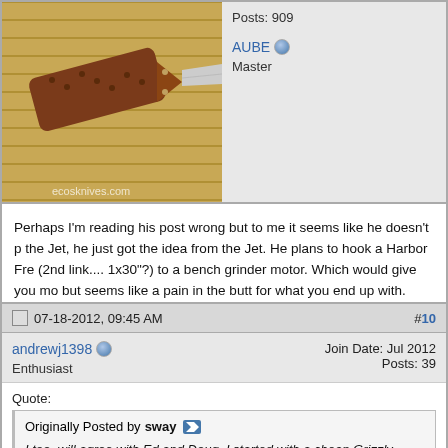[Figure (photo): Photo of a knife with brown handle scales and blade, resting on a bamboo mat. Watermark reads 'ecosknives.com']
AUBE
Master
Posts: 909
Perhaps I'm reading his post wrong but to me it seems like he doesn't p the Jet, he just got the idea from the Jet. He plans to hook a Harbor Fre (2nd link.... 1x30"?) to a bench grinder motor. Which would give you mo but seems like a pain in the butt for what you end up with.

If you can't afford a top end grinder perhaps look into making your own. scrounge you can make them pretty cheap, you may even be able to us bench grinder motor if its decent hp.
07-18-2012, 09:45 AM
#10
andrewj1398
Enthusiast
Join Date: Jul 2012
Posts: 39
Quote:
Originally Posted by sway
I too, will agree with Ed and Doug, I started with a cheap Grizzly 1x48" and found it to be very frustrating to make a decent knife with it. So after